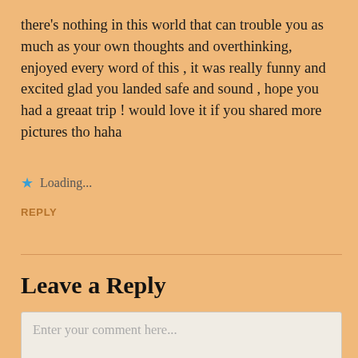there's nothing in this world that can trouble you as much as your own thoughts and overthinking, enjoyed every word of this , it was really funny and excited glad you landed safe and sound , hope you had a greaat trip ! would love it if you shared more pictures tho haha
Loading...
REPLY
Leave a Reply
Enter your comment here...